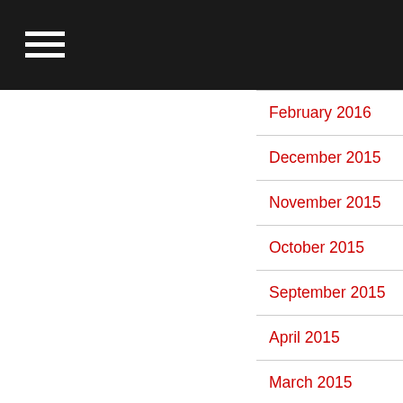February 2016
December 2015
November 2015
October 2015
September 2015
April 2015
March 2015
February 2015
January 2015
October 2014
September 2014
August 2014
July 2014
June 2014
May 2014